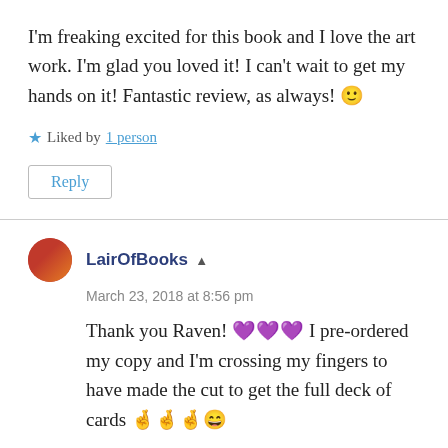I'm freaking excited for this book and I love the art work. I'm glad you loved it! I can't wait to get my hands on it! Fantastic review, as always! 🙂
★ Liked by 1 person
Reply
LairOfBooks ▲
March 23, 2018 at 8:56 pm
Thank you Raven! 💜💜💜 I pre-ordered my copy and I'm crossing my fingers to have made the cut to get the full deck of cards 🤞🤞🤞😄